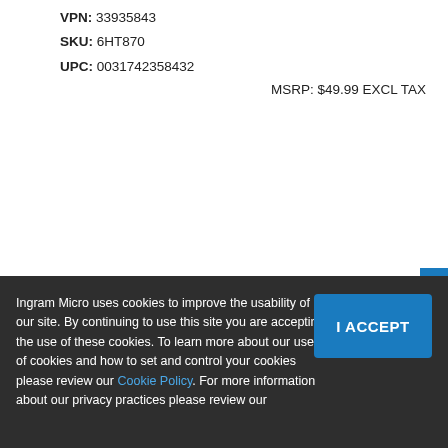VPN: 33935843
SKU: 6HT870
UPC: 0031742358432
MSRP: $49.99 EXCL TAX
[Figure (logo): ATLANTIS brand logo in large bold black text with registered trademark symbol]
Ingram Micro uses cookies to improve the usability of our site. By continuing to use this site you are accepting the use of these cookies. To learn more about our use of cookies and how to set and control your cookies please review our Cookie Policy. For more information about our privacy practices please review our